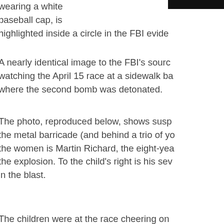wearing a white baseball cap, is highlighted inside a circle in the FBI evidence
A nearly identical image to the FBI's source watching the April 15 race at a sidewalk ba where the second bomb was detonated.
The photo, reproduced below, shows susp the metal barricade (and behind a trio of yo the women is Martin Richard, the eight-yea the explosion. To the child's right is his sev in the blast.
The children were at the race cheering on According to the Boston Globe, the Richar from a spot several blocks away from the C after an ice cream break, they moved clos against the barrier in front of the apartmen
The photo of suspect #2 and the Richard c much-maligned online sleuths congregatin bombing clues. The site habituée highlighte what appears to be a backpack on the side
[Figure (photo): Partial photo visible at the bottom of the page showing a scene related to the Boston Marathon bombing coverage.]